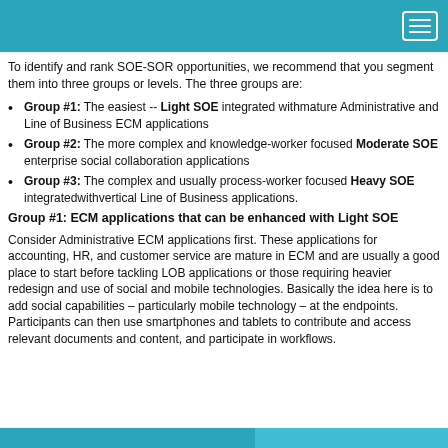To identify and rank SOE-SOR opportunities, we recommend that you segment them into three groups or levels. The three groups are:
Group #1: The easiest -- Light SOE integrated withmature Administrative and Line of Business ECM applications
Group #2: The more complex and knowledge-worker focused Moderate SOE enterprise social collaboration applications
Group #3: The complex and usually process-worker focused Heavy SOE integratedwithvertical Line of Business applications.
Group #1: ECM applications that can be enhanced with Light SOE
Consider Administrative ECM applications first. These applications for accounting, HR, and customer service are mature in ECM and are usually a good place to start before tackling LOB applications or those requiring heavier redesign and use of social and mobile technologies. Basically the idea here is to add social capabilities – particularly mobile technology – at the endpoints. Participants can then use smartphones and tablets to contribute and access relevant documents and content, and participate in workflows.